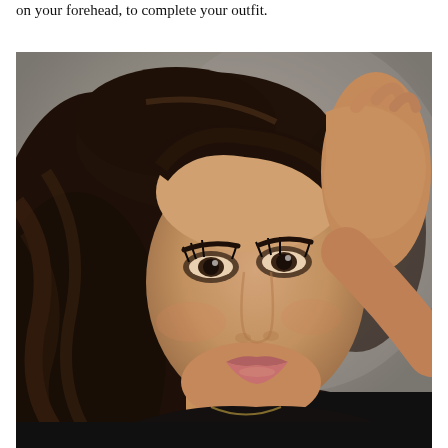on your forehead, to complete your outfit.
[Figure (photo): Portrait photo of a young woman with dark wavy hair, smoky eye makeup, wearing a black top, with her right hand raised near her head. Studio-style beauty photograph against a grey background.]